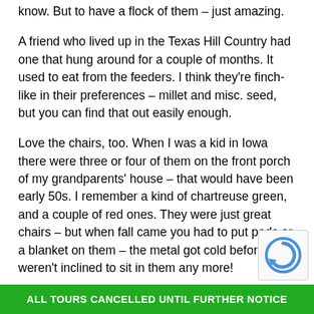know. But to have a flock of them – just amazing.
A friend who lived up in the Texas Hill Country had one that hung around for a couple of months. It used to eat from the feeders. I think they're finch-like in their preferences – millet and misc. seed, but you can find that out easily enough.
Love the chairs, too. When I was a kid in Iowa there were three or four of them on the front porch of my grandparents' house – that would have been early 50s. I remember a kind of chartreuse green, and a couple of red ones. They were just great chairs – but when fall came you had to put pads or a blanket on them – the metal got cold before we weren't inclined to sit in them any more!
ALL TOURS CANCELLED UNTIL FURTHER NOTICE